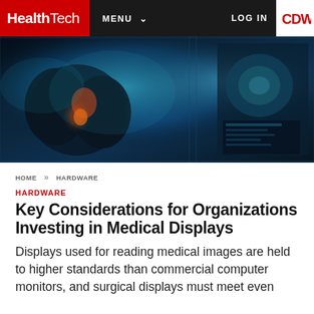HealthTech | MENU | LOG IN | CDW
[Figure (photo): Close-up photo of medical imaging displays showing colorized X-ray/CT scan of lungs with red and orange highlights, blue glowing digital interface overlay]
HOME >> HARDWARE
HARDWARE
Key Considerations for Organizations Investing in Medical Displays
Displays used for reading medical images are held to higher standards than commercial computer monitors, and surgical displays must meet even